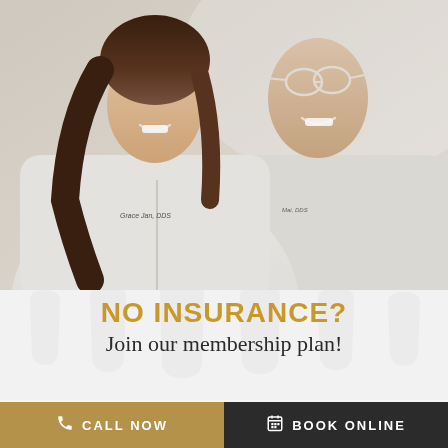[Figure (photo): Two dental professionals in white coats smiling, woman labeled Grace Jan, DDS on left, man on right]
NO INSURANCE?
Join our membership plan!
CALL NOW
BOOK ONLINE